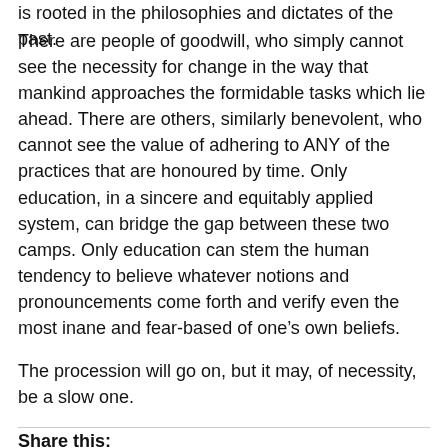is rooted in the philosophies and dictates of the past.
There are people of goodwill, who simply cannot see the necessity for change in the way that mankind approaches the formidable tasks which lie ahead. There are others, similarly benevolent, who cannot see the value of adhering to ANY of the practices that are honoured by time. Only education, in a sincere and equitably applied system, can bridge the gap between these two camps. Only education can stem the human tendency to believe whatever notions and pronouncements come forth and verify even the most inane and fear-based of one’s own beliefs.
The procession will go on, but it may, of necessity, be a slow one.
Share this: